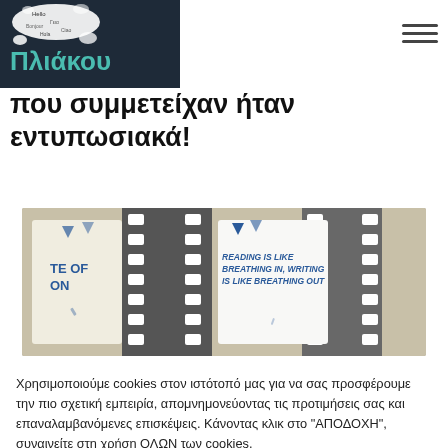Πλιάκου
που συμμετείχαν ήταν εντυπωσιακά!
[Figure (photo): Photo of printed cards/invitations arranged on a film strip background. A card on the right reads: READING IS LIKE BREATHING IN, WRITING IS LIKE BREATHING OUT. Left card shows partial text: TE OF ON with blue triangular decorations.]
Χρησιμοποιούμε cookies στον ιστότοπό μας για να σας προσφέρουμε την πιο σχετική εμπειρία, απομνημονεύοντας τις προτιμήσεις σας και επαναλαμβανόμενες επισκέψεις. Κάνοντας κλικ στο "ΑΠΟΔΟΧΗ", συναινείτε στη χρήση ΟΛΩΝ των cookies.
ΑΠΟΔΟΧΗ